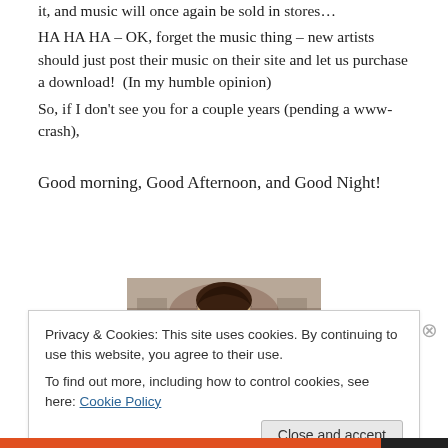it, and music will once again be sold in stores…
HA HA HA – OK, forget the music thing – new artists should just post their music on their site and let us purchase a download!  (In my humble opinion)
So, if I don't see you for a couple years (pending a www-crash),
Good morning, Good Afternoon, and Good Night!
[Figure (photo): Photo of a smiling man with dark hair, partially visible, centered on the page]
Privacy & Cookies: This site uses cookies. By continuing to use this website, you agree to their use.
To find out more, including how to control cookies, see here: Cookie Policy
Close and accept